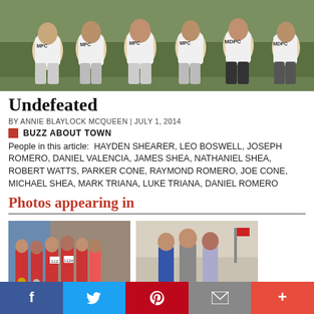[Figure (photo): Group of boys/young men in white MPC team shirts sitting outdoors on grass, posed for a team photo.]
Undefeated
BY ANNIE BLAYLOCK MCQUEEN | JULY 1, 2014
BUZZ ABOUT TOWN
People in this article: HAYDEN SHEARER, LEO BOSWELL, JOSEPH ROMERO, DANIEL VALENCIA, JAMES SHEA, NATHANIEL SHEA, ROBERT WATTS, PARKER CONE, RAYMOND ROMERO, JOE CONE, MICHAEL SHEA, MARK TRIANA, LUKE TRIANA, DANIEL ROMERO
Photos appearing in
[Figure (photo): Group of boys in running/track uniforms with medals, standing together at a race event with flags in background.]
[Figure (photo): Three boys standing together outdoors near a building.]
Social sharing bar: Facebook, Twitter, Pinterest, Email, More